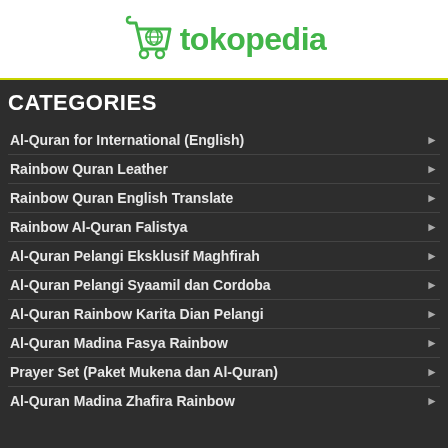[Figure (logo): Tokopedia logo with green shopping cart icon and green text 'tokopedia']
CATEGORIES
Al-Quran for International (English)
Rainbow Quran Leather
Rainbow Quran English Translate
Rainbow Al-Quran Falistya
Al-Quran Pelangi Eksklusif Maghfirah
Al-Quran Pelangi Syaamil dan Cordoba
Al-Quran Rainbow Karita Dian Pelangi
Al-Quran Madina Fasya Rainbow
Prayer Set (Paket Mukena dan Al-Quran)
Al-Quran Madina Zhafira Rainbow